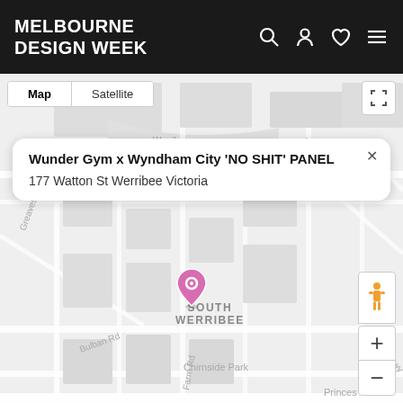MELBOURNE DESIGN WEEK
[Figure (map): Google Maps view showing Werribee area with map/satellite toggle, street layout around South Werribee, Wunder Gym x Wyndham City popup, and map controls including pegman, zoom in/out]
Wunder Gym x Wyndham City 'NO SHIT' PANEL
177 Watton St Werribee Victoria